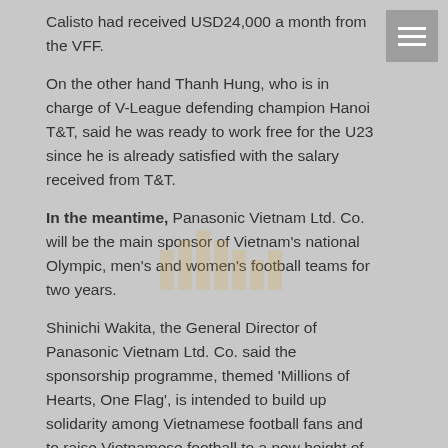Calisto had received USD24,000 a month from the VFF.
On the other hand Thanh Hung, who is in charge of V-League defending champion Hanoi T&T, said he was ready to work free for the U23 since he is already satisfied with the salary received from T&T.
In the meantime, Panasonic Vietnam Ltd. Co. will be the main sponsor of Vietnam's national Olympic, men's and women's football teams for two years.
Shinichi Wakita, the General Director of Panasonic Vietnam Ltd. Co. said the sponsorship programme, themed 'Millions of Hearts, One Flag', is intended to build up solidarity among Vietnamese football fans and to raise Vietnamese football to a new height of development.
Share this: